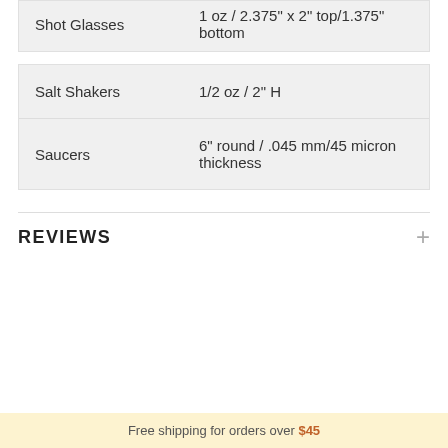| Item | Specification |
| --- | --- |
| Shot Glasses | 1 oz / 2.375" x 2" top/1.375" bottom |
| Salt Shakers | 1/2 oz / 2" H |
| Saucers | 6" round / .045 mm/45 micron thickness |
REVIEWS
Free shipping for orders over $45